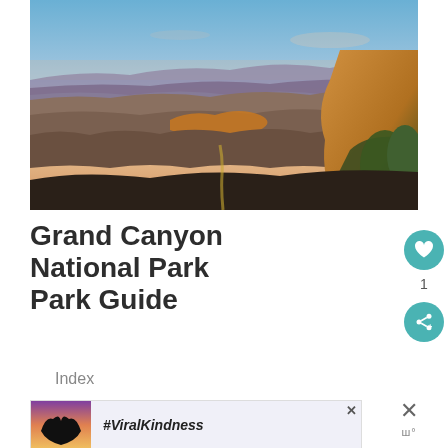[Figure (photo): Aerial/overview photo of Grand Canyon National Park at sunset/golden hour, showing layered red and orange rock formations, canyon depth, and dramatic sky with warm hues.]
Grand Canyon National Park Guide
Index
[Figure (photo): Advertisement banner showing hands forming a heart shape silhouette against a colorful sunset sky, with text '#ViralKindness']